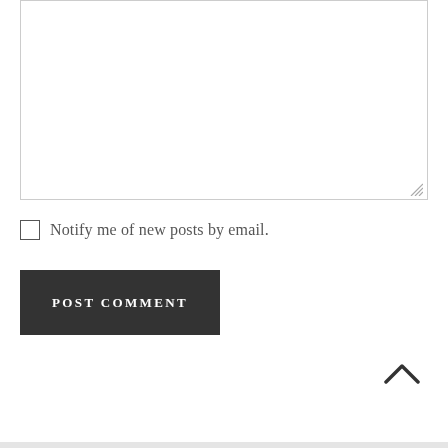[Figure (screenshot): A textarea input box with a resize handle at the bottom-right corner, representing a comment input field on a web page form.]
Notify me of new posts by email.
POST COMMENT
[Figure (other): An upward-pointing chevron/caret arrow icon for scrolling to top of page.]